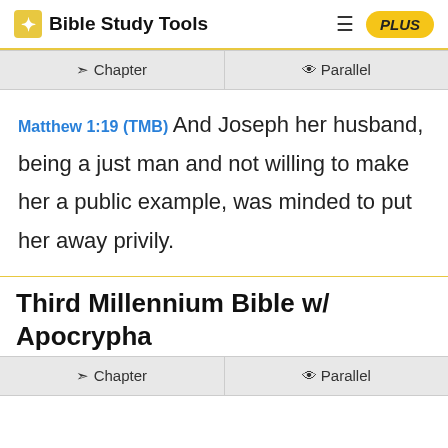Bible Study Tools
Chapter   Parallel
Matthew 1:19 (TMB) And Joseph her husband, being a just man and not willing to make her a public example, was minded to put her away privily.
Third Millennium Bible w/ Apocrypha
Chapter   Parallel